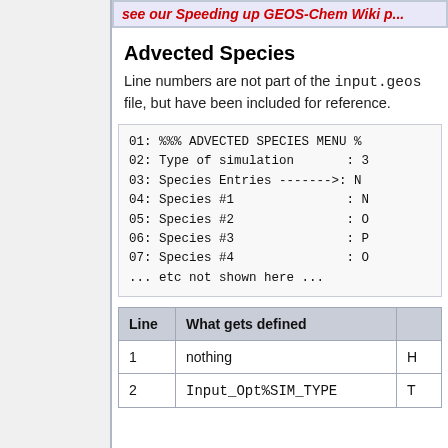see our Speeding up GEOS-Chem Wiki p...
Advected Species
Line numbers are not part of the input.geos file, but have been included for reference.
01: %%% ADVECTED SPECIES MENU %%
02: Type of simulation           : 3
03: Species Entries ------->: N
04: Species #1                  : N
05: Species #2                  : O
06: Species #3                  : P
07: Species #4                  : O
... etc not shown here ...
| Line | What gets defined |  |
| --- | --- | --- |
| 1 | nothing | H |
| 2 | Input_Opt%SIM_TYPE | T |